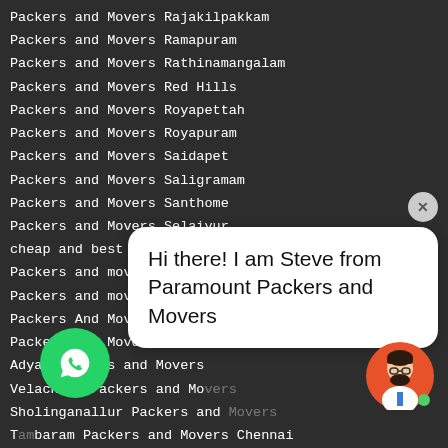Packers and Movers Rajakilpakkam
Packers and Movers Ramapuram
Packers and Movers Rathinamangalam
Packers and Movers Red Hills
Packers and Movers Royapettah
Packers and Movers Royapuram
Packers and Movers Saidapet
Packers and Movers Saligramam
Packers and Movers Santhome
Packers and Movers Selaiyur
cheap and best packers and movers in chennai
Packers and movers chennai charges
Packers and movers for local shifting in chennai
Packers And Movers Chennai Thoraipakkam
Packers And Movers in Chennai
Adyar Packers and Movers
Velachery Packers and Movers
Sholinganallur Packers and Movers
Tambaram Packers and Movers Chennai
Transportation Service Chennai
shifting in chennai
low cost packers and movers in chennai
[Figure (screenshot): Chat widget showing a WhatsApp button (green circle with WhatsApp logo), a chat bubble with text 'Hi there! I am Steve from Paramount Packers and Movers', a close button (grey X circle), and an avatar of a person in an orange circle with a green online indicator dot.]